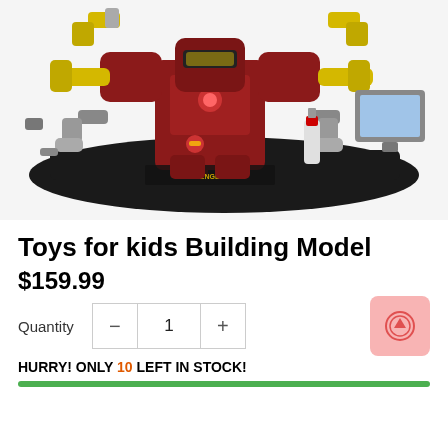[Figure (photo): LEGO Avengers Hulkbuster building model toy set with Iron Man minifigure, robotic arms, fire extinguisher, and computer screen accessories on a black display base]
Toys for kids Building Model
$159.99
Quantity  −  1  +
HURRY! ONLY 10 LEFT IN STOCK!